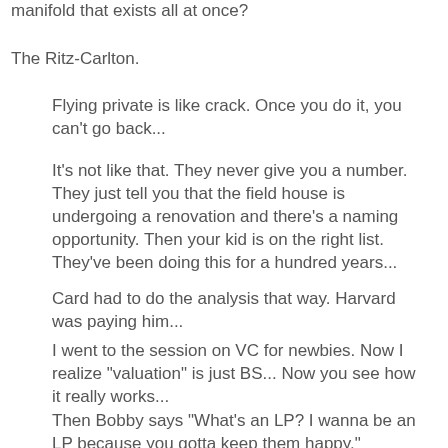manifold that exists all at once?
The Ritz-Carlton.
Flying private is like crack. Once you do it, you can't go back...
It's not like that. They never give you a number. They just tell you that the field house is undergoing a renovation and there's a naming opportunity. Then your kid is on the right list. They've been doing this for a hundred years...
Card had to do the analysis that way. Harvard was paying him...
I went to the session on VC for newbies. Now I realize "valuation" is just BS... Now you see how it really works...
Then Bobby says "What's an LP? I wanna be an LP because you gotta keep them happy."